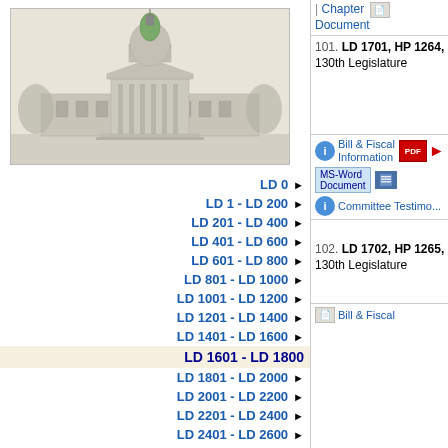[Figure (illustration): Maine State Capitol building illustration in grey tones with green dome]
LD 0
LD 1 - LD 200
LD 201 - LD 400
LD 401 - LD 600
LD 601 - LD 800
LD 801 - LD 1000
LD 1001 - LD 1200
LD 1201 - LD 1400
LD 1401 - LD 1600
LD 1601 - LD 1800
LD 1801 - LD 2000
LD 2001 - LD 2200
LD 2201 - LD 2400
LD 2401 - LD 2600
Chapter | Document
101. LD 1701, HP 1264, 130th Legislature
Bill & Fiscal Information
MS-Word Document
Committee Testimony
102. LD 1702, HP 1265, 130th Legislature
Bill & Fiscal Information